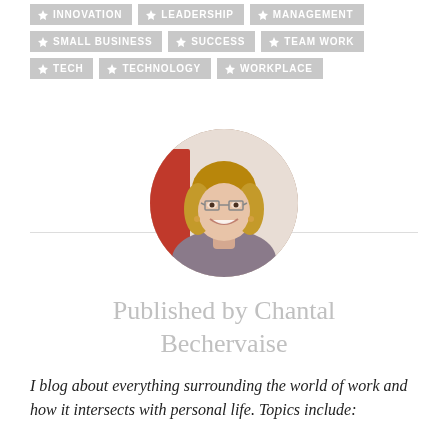INNOVATION
LEADERSHIP
MANAGEMENT
SMALL BUSINESS
SUCCESS
TEAM WORK
TECH
TECHNOLOGY
WORKPLACE
[Figure (photo): Circular portrait photo of Chantal Bechervaise, a woman with glasses and blonde-brown hair, smiling]
Published by Chantal Bechervaise
I blog about everything surrounding the world of work and how it intersects with personal life. Topics include: